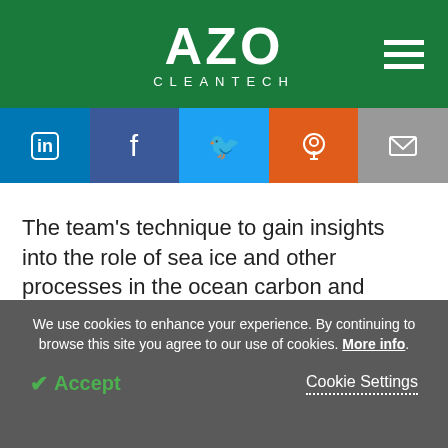AZO CLEANTECH
[Figure (logo): AZO Cleantech logo in white on green background with hamburger menu icon]
[Figure (infographic): Social sharing icons bar: LinkedIn (blue), Facebook (dark blue), Twitter (light blue), Reddit (orange), Email (grey)]
The team's technique to gain insights into the role of sea ice and other processes in the ocean carbon and oxygen cycles could apply even to future climate modeling, continued Schmittner.
We use cookies to enhance your experience. By continuing to browse this site you agree to our use of cookies. More info. Accept Cookie Settings